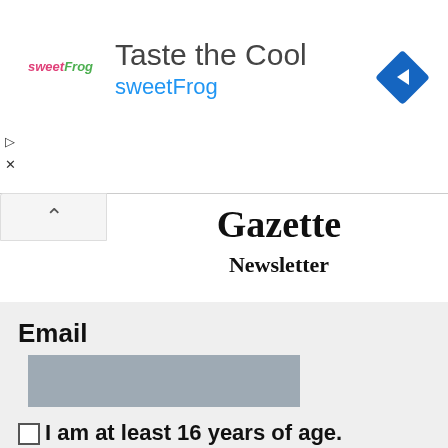[Figure (infographic): Advertisement banner for sweetFrog 'Taste the Cool' with logo, text, and navigation diamond icon]
Gazette
Newsletter
Email
[Figure (screenshot): Greyed-out email input field]
I am at least 16 years of age.
I have read and accept the privacy policy.